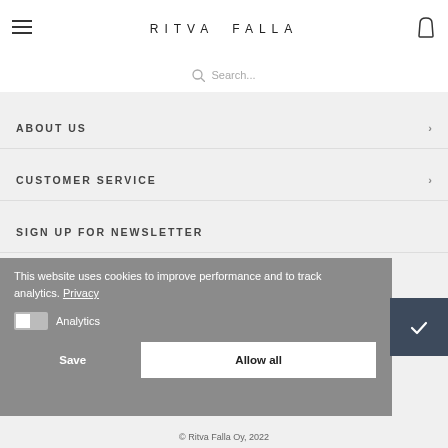RITVA FALLA
Search...
ABOUT US
CUSTOMER SERVICE
SIGN UP FOR NEWSLETTER
This website uses cookies to improve performance and to track analytics. Privacy
Analytics
Save
Allow all
© Ritva Falla Oy, 2022